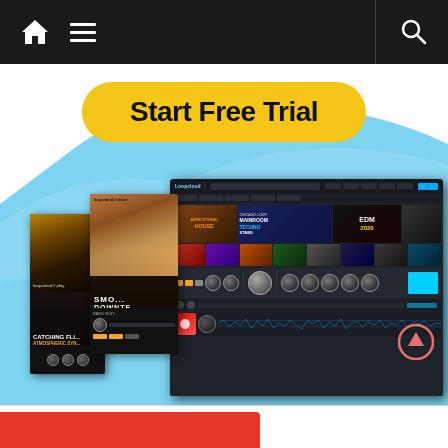Navigation bar with home icon, hamburger menu, and search icon
Start Free Trial
[Figure (screenshot): Loopcloud music software interface showing plugin panels, sample browser with album art thumbnails (Afro Ethnic House, Chicago Loop Mainroom Techno Stabs, EDM 2020), mixer section with knobs, and waveform editor. Overlaid plugin panels show 'Catching Fli... Atmospheric Syn...' and 'SMO... DOWNTE...' products.]
[Figure (other): Up arrow / scroll-to-top button in coral/salmon color]
Bottom red bar strip